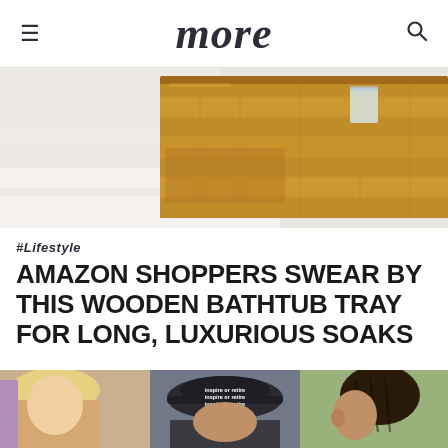more
[Figure (photo): Close-up of a bamboo wooden bathtub tray resting on white towels/bath edge, warm natural wood tones]
#Lifestyle
AMAZON SHOPPERS SWEAR BY THIS WOODEN BATHTUB TRAY FOR LONG, LUXURIOUS SOAKS
[Figure (photo): Three-panel collage: left panel shows a person with blonde hair, center panel shows a person wearing a dark baseball cap with text 'inspire or retire' repeated, right panel shows a person with dark braided hair]